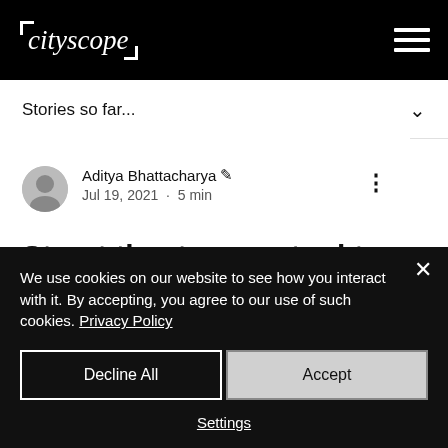cityscope
Stories so far...
Aditya Bhattacharya ✍ Jul 19, 2021 · 5 min
Street theatre as a tool to spread awareness about
We use cookies on our website to see how you interact with it. By accepting, you agree to our use of such cookies. Privacy Policy
Decline All
Accept
Settings